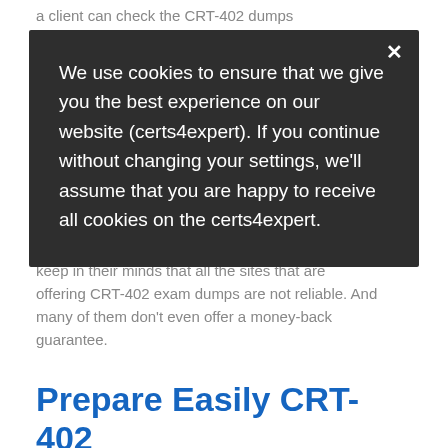a client can check the CRT-402 dumps pdf questions before buying it and then he can get an idea about whether the Salesforce CRT-...
Certs4Expert provides the most reliable and comprehensive... download the... and they can use... even in a coffee... reliable than the... One thing that clients need to keep in their minds that all the sites that are offering CRT-402 exam dumps are not reliable. And many of them don't even offer a money-back guarantee.
[Figure (screenshot): Cookie consent modal overlay on a dark background. Text reads: 'We use cookies to ensure that we give you the best experience on our website (certs4expert). If you continue without changing your settings, we'll assume that you are happy to receive all cookies on the certs4expert.' with an X close button.]
Prepare Easily CRT-402 Questions - Latest